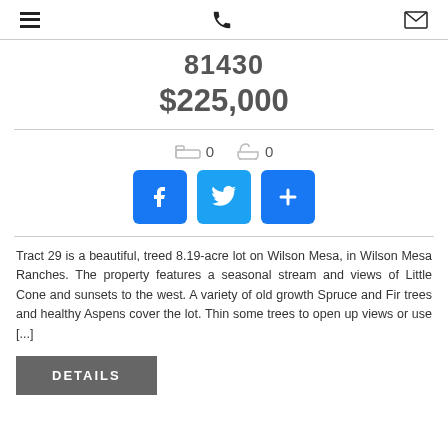≡  📞  ✉
81430
$225,000
🛏 0   🛁 0
[Figure (other): Social share buttons: Facebook (f), Twitter (bird), Plus (+)]
Tract 29 is a beautiful, treed 8.19-acre lot on Wilson Mesa, in Wilson Mesa Ranches. The property features a seasonal stream and views of Little Cone and sunsets to the west. A variety of old growth Spruce and Fir trees and healthy Aspens cover the lot. Thin some trees to open up views or use [...]
DETAILS